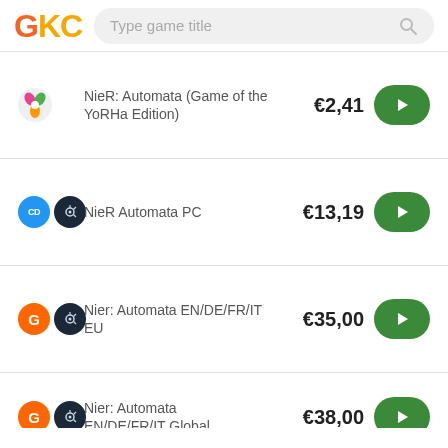GKC — Type game title
NieR: Automata (Game of the YoRHa Edition) €2,41
NieR Automata PC €13,19
Nier: Automata EN/DE/FR/IT EU €35,00
Nier: Automata EN/DE/FR/IT Global €38,00